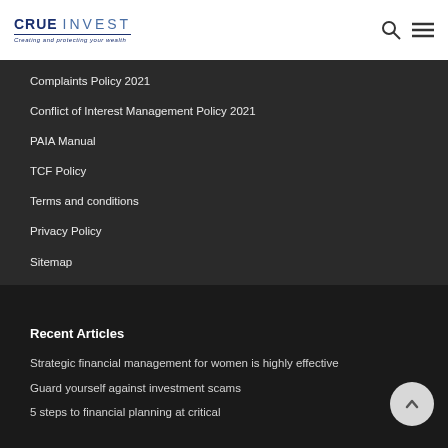CRUE INVEST — Creating and protecting your wealth
Complaints Policy 2021
Conflict of Interest Management Policy 2021
PAIA Manual
TCF Policy
Terms and conditions
Privacy Policy
Sitemap
Recent Articles
Strategic financial management for women is highly effective
Guard yourself against investment scams
5 steps to financial planning at critical...